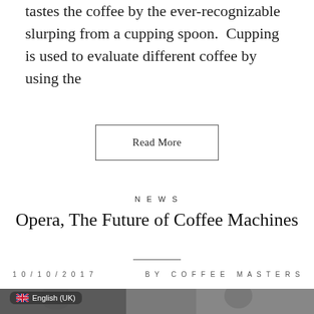tastes the coffee by the ever-recognizable slurping from a cupping spoon.  Cupping is used to evaluate different coffee by using the
Read More
NEWS
Opera, The Future of Coffee Machines
10/10/2017   BY COFFEE MASTERS
[Figure (photo): Photo of people at a coffee event with an English (UK) language badge overlay]